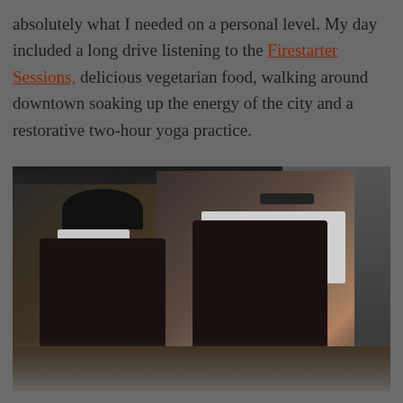absolutely what I needed on a personal level. My day included a long drive listening to the Firestarter Sessions, delicious vegetarian food, walking around downtown soaking up the energy of the city and a restorative two-hour yoga practice.
[Figure (photo): Two chefs in white shirts and black aprons working in a professional kitchen, leaning over a counter preparing food. The kitchen has stainless steel equipment visible in the background.]